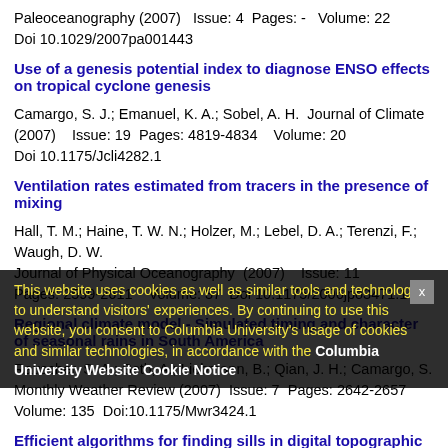Paleoceanography (2007)   Issue: 4  Pages: -   Volume: 22
Doi 10.1029/2007pa001443
Use of a genesis potential index to diagnose ENSO effects on tropical cyclone genesis
Camargo, S. J.; Emanuel, K. A.; Sobel, A. H.  Journal of Climate (2007)   Issue: 19  Pages: 4819-4834   Volume: 20
Doi 10.1175/Jcli4282.1
Ventilation rates estimated from tracers in the presence of mixing
Hall, T. M.; Haine, T. W. N.; Holzer, M.; Lebel, D. A.; Terenzi, F.; Waugh, D. W.
Journal of Physical Oceanography  (2007)   Issue: 11
Pages: 2599-2611   Volume: 37  Doi 10.1175/2006jpo3471.1
Regional climate model - Simulated timing and character of seasonal rains in South America
Rauscher, S. A.; Seth, A.; Liebmann, B.; Qian, J. H.; Camargo, S.
Monthly Weather Review  (2007)  Issue: 7  Pages: 2642-2657
Volume: 135  Doi:10.1175/Mwr3424.1
Efficient algorithms for finding sills in digital topographic maps
Otto, T. D.; Thurherr, A. M.  Computers & Geosciences  (2007)